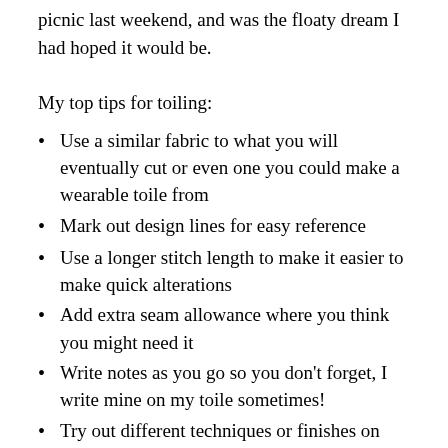picnic last weekend, and was the floaty dream I had hoped it would be.
My top tips for toiling:
Use a similar fabric to what you will eventually cut or even one you could make a wearable toile from
Mark out design lines for easy reference
Use a longer stitch length to make it easier to make quick alterations
Add extra seam allowance where you think you might need it
Write notes as you go so you don't forget, I write mine on my toile sometimes!
Try out different techniques or finishes on